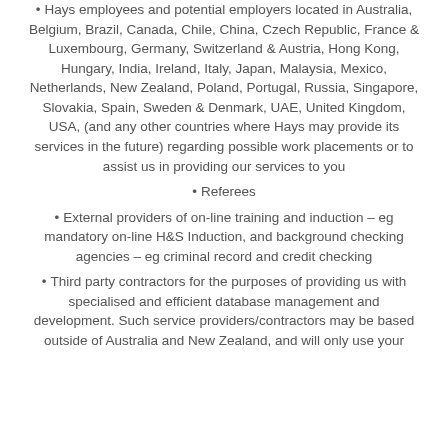Hays employees and potential employers located in Australia, Belgium, Brazil, Canada, Chile, China, Czech Republic, France & Luxembourg, Germany, Switzerland & Austria, Hong Kong, Hungary, India, Ireland, Italy, Japan, Malaysia, Mexico, Netherlands, New Zealand, Poland, Portugal, Russia, Singapore, Slovakia, Spain, Sweden & Denmark, UAE, United Kingdom, USA, (and any other countries where Hays may provide its services in the future) regarding possible work placements or to assist us in providing our services to you
Referees
External providers of on-line training and induction – eg mandatory on-line H&S Induction, and background checking agencies – eg criminal record and credit checking
Third party contractors for the purposes of providing us with specialised and efficient database management and development. Such service providers/contractors may be based outside of Australia and New Zealand, and will only use your